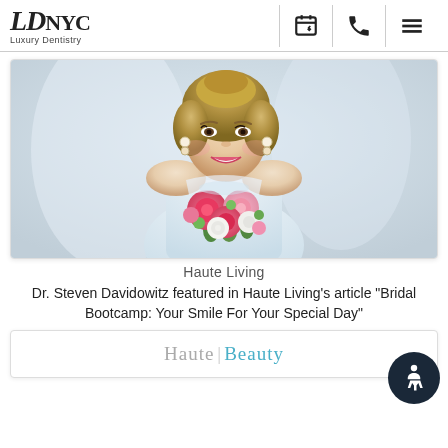LD NYC Luxury Dentistry
[Figure (photo): Smiling bride in white dress holding a colorful bouquet of pink and white flowers]
Haute Living
Dr. Steven Davidowitz featured in Haute Living's article "Bridal Bootcamp: Your Smile For Your Special Day"
[Figure (logo): Haute Beauty logo in gray and teal text]